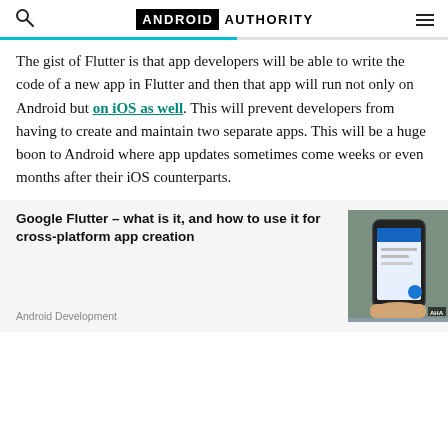ANDROID AUTHORITY
The gist of Flutter is that app developers will be able to write the code of a new app in Flutter and then that app will run not only on Android but on iOS as well. This will prevent developers from having to create and maintain two separate apps. This will be a huge boon to Android where app updates sometimes come weeks or even months after their iOS counterparts.
Google Flutter – what is it, and how to use it for cross-platform app creation
Android Development